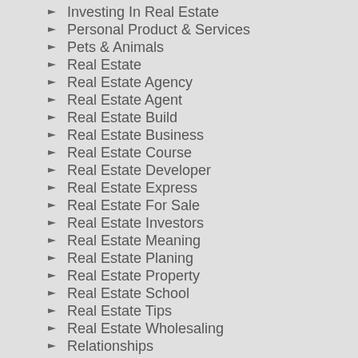Investing In Real Estate
Personal Product & Services
Pets & Animals
Real Estate
Real Estate Agency
Real Estate Agent
Real Estate Build
Real Estate Business
Real Estate Course
Real Estate Developer
Real Estate Express
Real Estate For Sale
Real Estate Investors
Real Estate Meaning
Real Estate Planing
Real Estate Property
Real Estate School
Real Estate Tips
Real Estate Wholesaling
Relationships
Software
Sports & Athletics